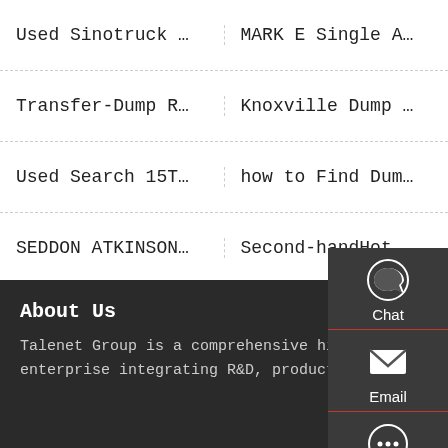Used Sinotruck …
MARK E Single A…
Transfer-Dump R…
Knoxville Dump …
Used Search 15T…
how to Find Dum…
SEDDON ATKINSON…
Second-handHot …
About Us
Talenet Group is a comprehensive high-tech enterprise integrating R&D, production,